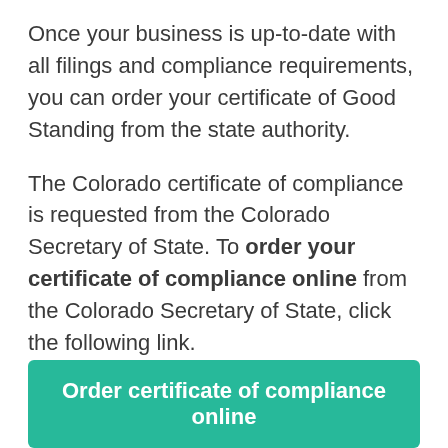Once your business is up-to-date with all filings and compliance requirements, you can order your certificate of Good Standing from the state authority.
The Colorado certificate of compliance is requested from the Colorado Secretary of State. To order your certificate of compliance online from the Colorado Secretary of State, click the following link.
Order certificate of compliance online